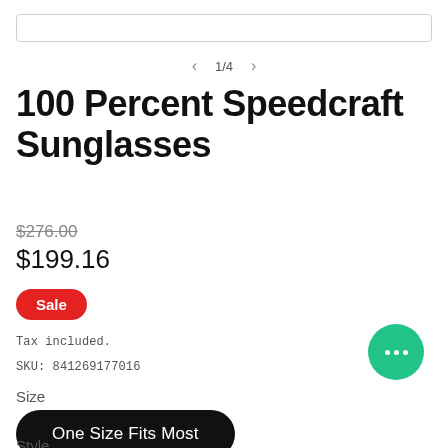[Figure (screenshot): Search bar input field at the top of the page]
< 1/4 >
100 Percent Speedcraft Sunglasses
$276.00
$199.16
Sale
Tax included.
SKU: 841269177016
Size
One Size Fits Most
Style